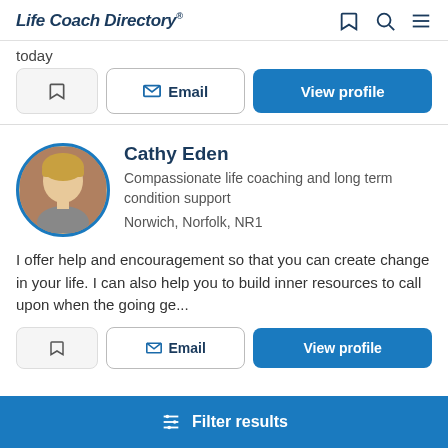Life Coach Directory
today
Email | View profile
Cathy Eden
Compassionate life coaching and long term condition support
Norwich, Norfolk, NR1
I offer help and encouragement so that you can create change in your life. I can also help you to build inner resources to call upon when the going ge...
Email | View profile
Filter results